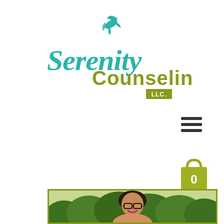[Figure (logo): Serenity Counseling LLC logo with teal script lettering and olive/gold block letters, with a dove bird graphic above]
[Figure (other): Hamburger menu icon (three horizontal dark lines)]
[Figure (other): Shopping cart bag icon in olive/yellow-green color with the number 0 displayed]
[Figure (photo): Photo of a woman with short dark hair, glasses, and a bright smile, wearing a pink/red lip color, photographed outdoors in front of green hedges/bushes]